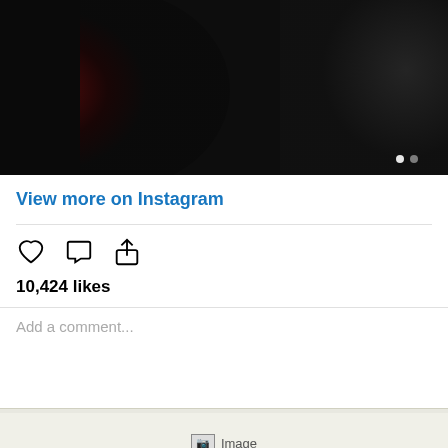[Figure (photo): Dark, moody Instagram photo with deep red and dark tones. Two carousel navigation dots visible in lower right.]
View more on Instagram
10,424 likes
Add a comment...
[Figure (other): Broken image placeholder labeled 'Image']
Re: ⚜. PUTERI INDONESIA 2022 LAKSMI SHARI SUARDAM... OT ⚜